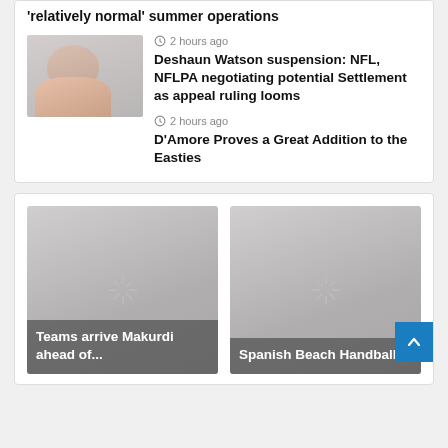relatively normal summer operations
2 hours ago
Deshaun Watson suspension: NFL, NFLPA negotiating potential Settlement as appeal ruling looms
2 hours ago
D'Amore Proves a Great Addition to the Easties
[Figure (photo): News article thumbnail image showing a person]
[Figure (photo): News article card image for Teams arrive Makurdi ahead of... (loading spinner shown)]
Teams arrive Makurdi ahead of...
[Figure (photo): News article card image for Spanish Beach Handball... (loading spinner shown)]
Spanish Beach Handball...